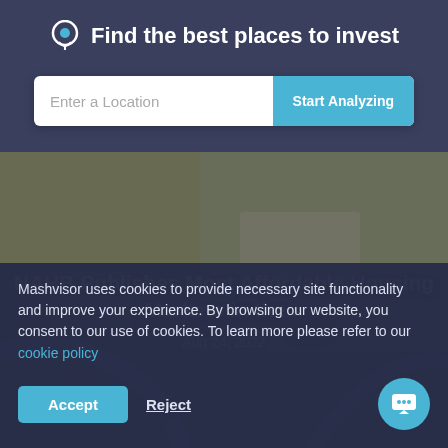Find the best places to invest
[Figure (screenshot): Search bar with 'Enter a Location' input and 'Start Analyzing' teal button]
[Figure (photo): Aerial view of a suburban neighborhood with roads, trees, and housing developments]
NAHB Publishes Most Affordable Housing Markets in the...
Aug 24, 2022
Mashvisor uses cookies to provide necessary site functionality and improve your experience. By browsing our website, you consent to our use of cookies. To learn more please refer to our cookie policy
Accept
Reject